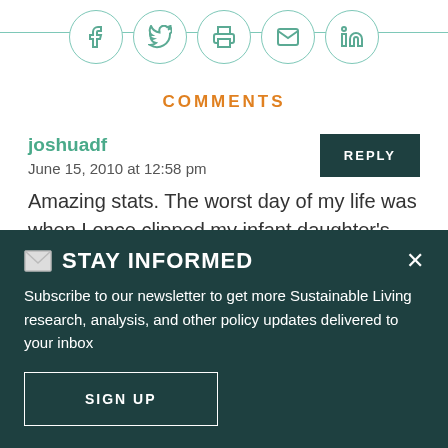[Figure (infographic): Social sharing icons row: Facebook, Twitter, Print, Email, LinkedIn — teal circles on a horizontal teal line]
COMMENTS
joshuadf
June 15, 2010 at 12:58 pm
Amazing stats. The worst day of my life was when I once clipped my infant daughter's
✉ STAY INFORMED
Subscribe to our newsletter to get more Sustainable Living research, analysis, and other policy updates delivered to your inbox
SIGN UP